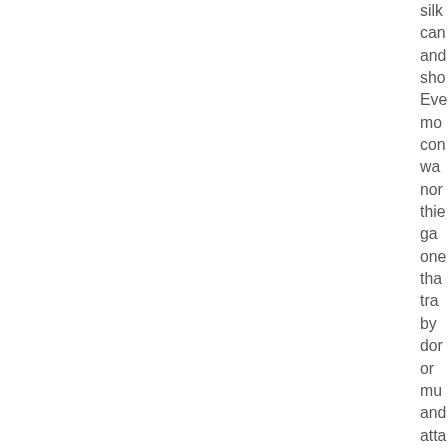silk can and sho Eve mo con wa nor thie ga one tha tra by dor or mu and atta any can in sig in